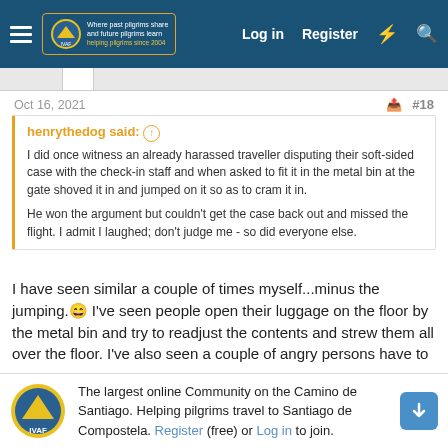The Pilgrim Forum — Log in | Register
Oct 16, 2021 #18
henrythedog said: ↑

I did once witness an already harassed traveller disputing their soft-sided case with the check-in staff and when asked to fit it in the metal bin at the gate shoved it in and jumped on it so as to cram it in.

He won the argument but couldn't get the case back out and missed the flight. I admit I laughed; don't judge me - so did everyone else.
I have seen similar a couple of times myself...minus the jumping. 😄 I've seen people open their luggage on the floor by the metal bin and try to readjust the contents and strew them all over the floor. I've also seen a couple of angry persons have to
The largest online Community on the Camino de Santiago. Helping pilgrims travel to Santiago de Compostela. Register (free) or Log in to join.